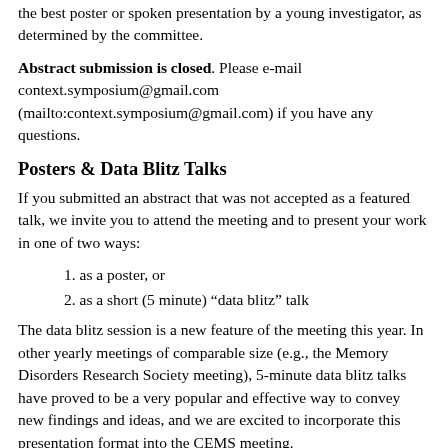the best poster or spoken presentation by a young investigator, as determined by the committee.
Abstract submission is closed. Please e-mail context.symposium@gmail.com (mailto:context.symposium@gmail.com) if you have any questions.
Posters & Data Blitz Talks
If you submitted an abstract that was not accepted as a featured talk, we invite you to attend the meeting and to present your work in one of two ways:
1. as a poster, or
2. as a short (5 minute) “data blitz” talk
The data blitz session is a new feature of the meeting this year. In other yearly meetings of comparable size (e.g., the Memory Disorders Research Society meeting), 5-minute data blitz talks have proved to be a very popular and effective way to convey new findings and ideas, and we are excited to incorporate this presentation format into the CEMS meeting.
Our advice for presenters is as follows: If you think that you can